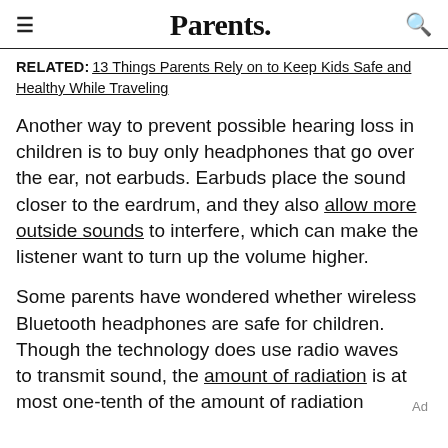Parents.
RELATED: 13 Things Parents Rely on to Keep Kids Safe and Healthy While Traveling
Another way to prevent possible hearing loss in children is to buy only headphones that go over the ear, not earbuds. Earbuds place the sound closer to the eardrum, and they also allow more outside sounds to interfere, which can make the listener want to turn up the volume higher.
Some parents have wondered whether wireless Bluetooth headphones are safe for children. Though the technology does use radio waves to transmit sound, the amount of radiation is at most one-tenth of the amount of radiation